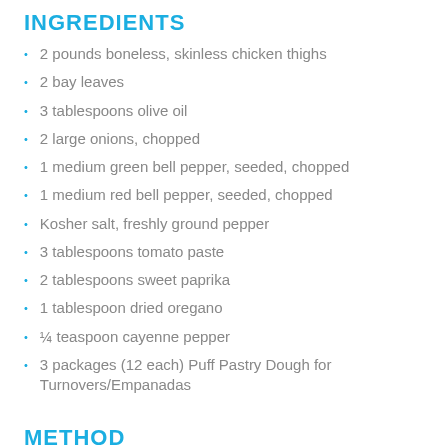INGREDIENTS
2 pounds boneless, skinless chicken thighs
2 bay leaves
3 tablespoons olive oil
2 large onions, chopped
1 medium green bell pepper, seeded, chopped
1 medium red bell pepper, seeded, chopped
Kosher salt, freshly ground pepper
3 tablespoons tomato paste
2 tablespoons sweet paprika
1 tablespoon dried oregano
¼ teaspoon cayenne pepper
3 packages (12 each) Puff Pastry Dough for Turnovers/Empanadas
METHOD
Do Ahead: Filling can be made 3 days ahead. Keep chilled. Unbaked